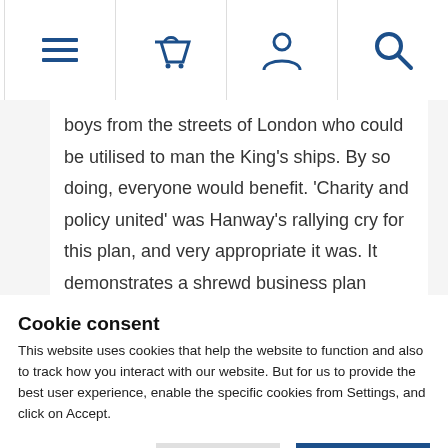[Navigation bar with menu, basket, account, and search icons]
boys from the streets of London who could be utilised to man the King’s ships. By so doing, everyone would benefit. ‘Charity and policy united’ was Hanway’s rallying cry for this plan, and very appropriate it was. It demonstrates a shrewd business plan wrapped in an appealing, apparently magnanimous gesture to the disadvantaged. It was thus, on 25 June 1756, that The
Cookie consent
This website uses cookies that help the website to function and also to track how you interact with our website. But for us to provide the best user experience, enable the specific cookies from Settings, and click on Accept.
Preferences⌄    Reject All    Accept All